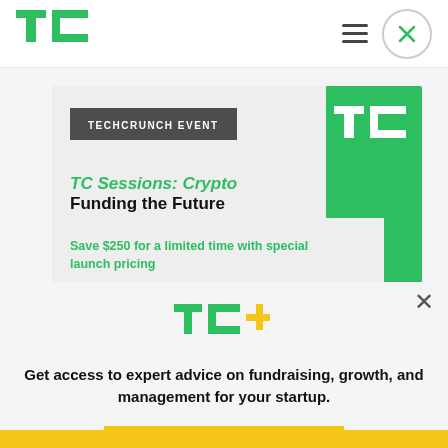[Figure (logo): TechCrunch TC green logo in nav bar]
[Figure (screenshot): Navigation hamburger menu icon and close circle button]
[Figure (infographic): TechCrunch event card with green TC corner block, event label, title and savings text]
TECHCRUNCH EVENT
TC Sessions: Crypto
Funding the Future
Save $250 for a limited time with special launch pricing
[Figure (logo): TC+ logo in yellow/green]
Get access to expert advice on fundraising, growth, and management for your startup.
EXPLORE NOW